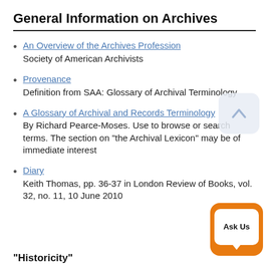General Information on Archives
An Overview of the Archives Profession
Society of American Archivists
Provenance
Definition from SAA: Glossary of Archival Terminology
A Glossary of Archival and Records Terminology
By Richard Pearce-Moses. Use to browse or search terms. The section on "the Archival Lexicon" may be of immediate interest
Diary
Keith Thomas, pp. 36-37 in London Review of Books, vol. 32, no. 11, 10 June 2010
"Historicity"